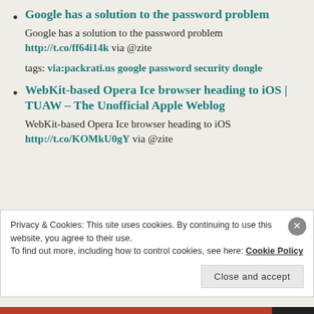Google has a solution to the password problem
Google has a solution to the password problem http://t.co/ff64i14k via @zite
tags: via:packrati.us google password security dongle
WebKit-based Opera Ice browser heading to iOS | TUAW – The Unofficial Apple Weblog
WebKit-based Opera Ice browser heading to iOS http://t.co/KOMkU0gY via @zite
Privacy & Cookies: This site uses cookies. By continuing to use this website, you agree to their use. To find out more, including how to control cookies, see here: Cookie Policy